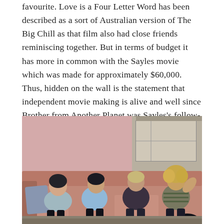favourite. Love is a Four Letter Word has been described as a sort of Australian version of The Big Chill as that film also had close friends reminiscing together. But in terms of budget it has more in common with the Sayles movie which was made for approximately $60,000. Thus, hidden on the wall is the statement that independent movie making is alive and well since Brother from Another Planet was Sayles's follow-up to Secausus 7, while Fahey's Love is a Four Letter Word was a follow-up to Voyage of Fear.
[Figure (photo): Four people (three men and one woman, or two women and two men) sitting on a pink/salmon-colored sofa in a room with a pink wall. From left: a woman in a light blue top, a man in a light blue shirt, a man in a dark shirt, and a woman with curly hair in a striped top. They appear relaxed, lounging on the couch.]